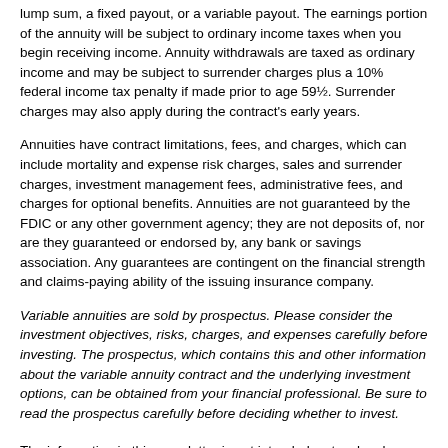lump sum, a fixed payout, or a variable payout. The earnings portion of the annuity will be subject to ordinary income taxes when you begin receiving income. Annuity withdrawals are taxed as ordinary income and may be subject to surrender charges plus a 10% federal income tax penalty if made prior to age 59½. Surrender charges may also apply during the contract's early years.
Annuities have contract limitations, fees, and charges, which can include mortality and expense risk charges, sales and surrender charges, investment management fees, administrative fees, and charges for optional benefits. Annuities are not guaranteed by the FDIC or any other government agency; they are not deposits of, nor are they guaranteed or endorsed by, any bank or savings association. Any guarantees are contingent on the financial strength and claims-paying ability of the issuing insurance company.
Variable annuities are sold by prospectus. Please consider the investment objectives, risks, charges, and expenses carefully before investing. The prospectus, which contains this and other information about the variable annuity contract and the underlying investment options, can be obtained from your financial professional. Be sure to read the prospectus carefully before deciding whether to invest.
The information in this newsletter is not intended as tax, legal, investment, or